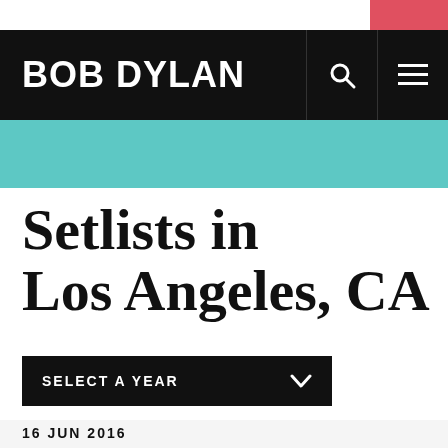BOB DYLAN
Setlists in Los Angeles, CA
SELECT A YEAR
16 JUN 2016